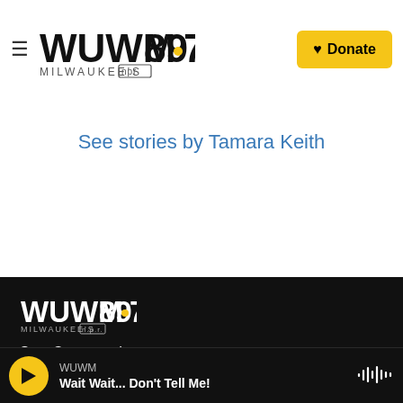WUWM 89.7 Milwaukee's NPR — Donate
See stories by Tamara Keith
[Figure (logo): WUWM 89.7 Milwaukee's NPR logo in footer]
Stay Connected
[Figure (other): Social media icons: Twitter/X, Instagram, Facebook]
WUWM — Wait Wait... Don't Tell Me! (audio player bar)